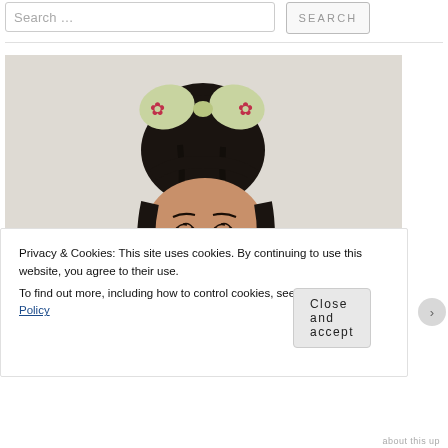Search ...  SEARCH
[Figure (photo): A woman with dark hair in a bun, wearing a crochet hair bow accessory with maple leaf pattern on a light background]
Privacy & Cookies: This site uses cookies. By continuing to use this website, you agree to their use. To find out more, including how to control cookies, see here: Cookie Policy
Close and accept
about this up